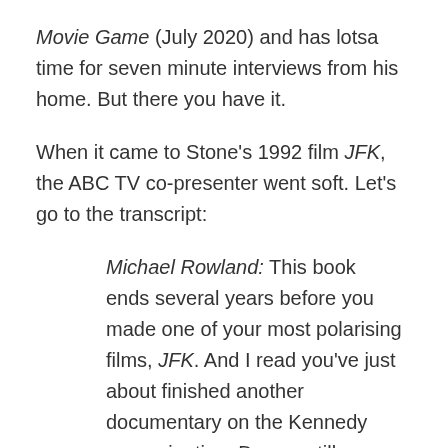Movie Game (July 2020) and has lotsa time for seven minute interviews from his home. But there you have it.
When it came to Stone's 1992 film JFK, the ABC TV co-presenter went soft. Let's go to the transcript:
Michael Rowland: This book ends several years before you made one of your most polarising films, JFK. And I read you've just about finished another documentary on the Kennedy assassination. Do you still believe President Kennedy, the case you've argued in the film, was the victim of a conspiracy?